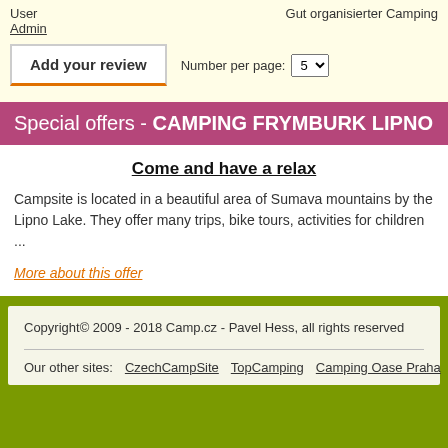User
Admin
Gut organisierter Camping
Add your review   Number per page: 5
Special offers - CAMPING FRYMBURK LIPNO
Come and have a relax
Campsite is located in a beautiful area of Sumava mountains by the Lipno Lake. They offer many trips, bike tours, activities for children ...
More about this offer
Copyright© 2009 - 2018 Camp.cz - Pavel Hess, all rights reserved
Our other sites: CzechCampSite  TopCamping  Camping Oase Praha | Ap